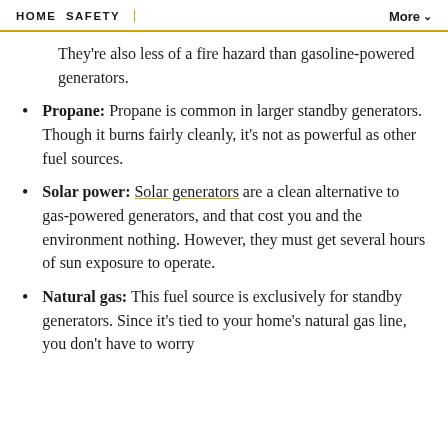HOME SAFETY | More
They're also less of a fire hazard than gasoline-powered generators.
Propane: Propane is common in larger standby generators. Though it burns fairly cleanly, it's not as powerful as other fuel sources.
Solar power: Solar generators are a clean alternative to gas-powered generators, and that cost you and the environment nothing. However, they must get several hours of sun exposure to operate.
Natural gas: This fuel source is exclusively for standby generators. Since it's tied to your home's natural gas line, you don't have to worry